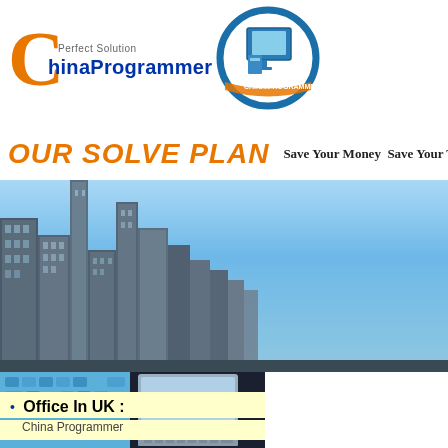[Figure (logo): ChinaProgrammer logo with orange C, blue text 'ChinaProgrammer', 'Perfect Solution' tagline, and a circular computer/monitor icon]
OUR SOLVE PLAN   Save Your Money  Save Your T
[Figure (photo): City skyline with tall modern skyscrapers against a blue sky banner]
[Figure (photo): Laptop computer with keyboard closeup, blue keyboard keys visible]
Office In UK :
China Programmer